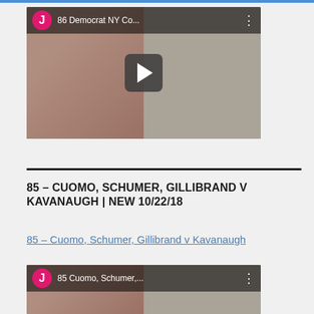[Figure (screenshot): YouTube video thumbnail showing a man in a pink shirt with a tie standing in front of an American flag, with title '86 Democrat NY Co...' and a play button overlay]
85 – CUOMO, SCHUMER, GILLIBRAND V KAVANAUGH | NEW 10/22/18
85 – Cuomo, Schumer, Gillibrand v Kavanaugh
[Figure (screenshot): YouTube video thumbnail showing '85 Cuomo, Schumer,...' with avatar J and three-dot menu]